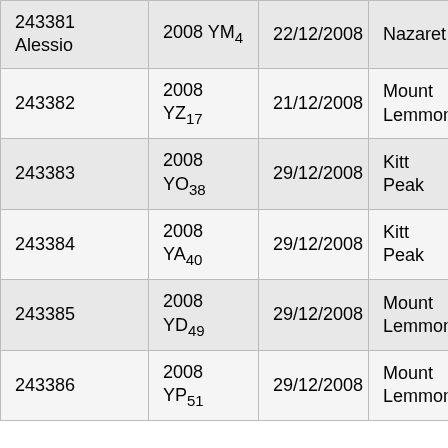| 243381 Alessio | 2008 YM4 | 22/12/2008 | Nazaret |
| 243382 | 2008 YZ17 | 21/12/2008 | Mount Lemmon |
| 243383 | 2008 YO38 | 29/12/2008 | Kitt Peak |
| 243384 | 2008 YA40 | 29/12/2008 | Kitt Peak |
| 243385 | 2008 YD49 | 29/12/2008 | Mount Lemmon |
| 243386 | 2008 YP51 | 29/12/2008 | Mount Lemmon |